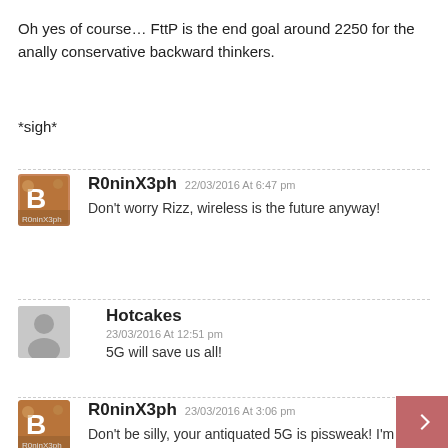Oh yes of course… FttP is the end goal around 2250 for the anally conservative backward thinkers.
*sigh*
R0ninX3ph 22/03/2016 At 6:47 pm — Don't worry Rizz, wireless is the future anyway!
Hotcakes 23/03/2016 At 12:51 pm — 5G will save us all!
R0ninX3ph 23/03/2016 At 3:06 pm — Don't be silly, your antiquated 5G is pissweak! I'm waiting for 6G. Why should we waste money on that 5G stuff when 6G is "just around the corner", look how quickly 4G is ending because